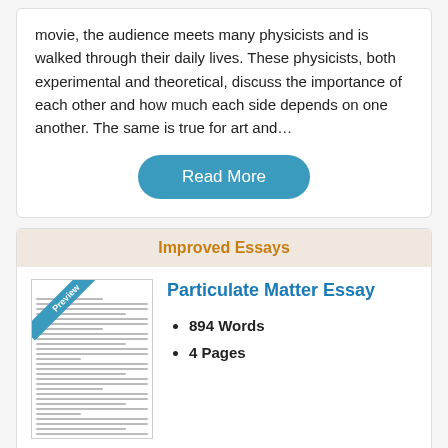movie, the audience meets many physicists and is walked through their daily lives. These physicists, both experimental and theoretical, discuss the importance of each other and how much each side depends on one another. The same is true for art and…
Read More
Improved Essays
[Figure (illustration): Preview thumbnail of essay document with diagonal 'Preview' banner]
Particulate Matter Essay
894 Words
4 Pages
many short lived particles within the nucleus